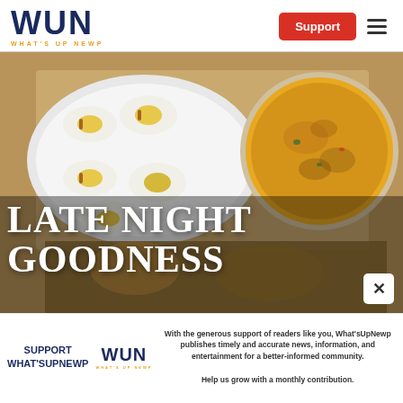WUN — WHAT'S UP NEWP | Support
[Figure (photo): Food photo showing deviled eggs on a white serving platter and a bowl of cheesy dip on a wooden board, with text overlay reading LATE NIGHT GOODNESS]
With the generous support of readers like you, What'sUpNewp publishes timely and accurate news, information, and entertainment for a better-informed community. Help us grow with a monthly contribution.
SUPPORT WHAT'SUPNEWP